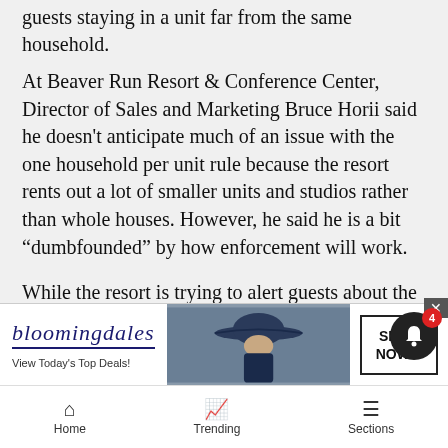guests staying in a unit far from the same household.
At Beaver Run Resort & Conference Center, Director of Sales and Marketing Bruce Horii said he doesn't anticipate much of an issue with the one household per unit rule because the resort rents out a lot of smaller units and studios rather than whole houses. However, he said he is a bit “dumbfounded” by how enforcement will work.
While the resort is trying to alert guests about the rule before they arrive, it could pose a problem if guests show up without receiving the messaging. Horii said one way the resort could accommodate guests who booked a unit but comprise more than one household is to offer a discount for two units.
As for
[Figure (screenshot): Bloomingdales advertisement banner: 'bloomingdales / View Today’s Top Deals!' with image of woman in hat and 'SHOP NOW >' button]
Home   Trending   Sections